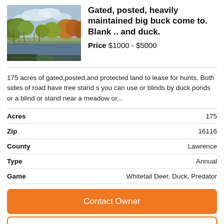[Figure (photo): Outdoor nature photo showing a pond or wetland area with reeds, trees with autumn foliage, and a cloudy sky.]
Gated, posted, heavily maintained big buck come to.  Blank .. and duck.
Price $1000 - $5000
175 acres of gated,posted,and protected land to lease for hunts. Both sides of road have tree stand s you can use or blinds by duck ponds or a blind or stand near a meadow or...
|  |  |
| --- | --- |
| Acres | 175 |
| Zip | 16116 |
| County | Lawrence |
| Type | Annual |
| Game | Whitetail Deer, Duck, Predator |
Contact Owner
View Lease